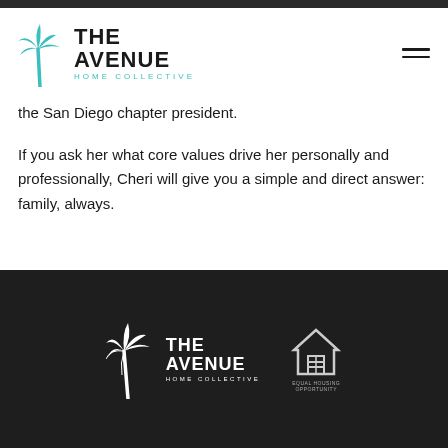[Figure (logo): The Avenue Home Collective logo with teal palm tree icon and text]
the San Diego chapter president.
If you ask her what core values drive her personally and professionally, Cheri will give you a simple and direct answer: family, always.
[Figure (logo): The Avenue Home Collective white logo on dark background in footer, alongside Equal Housing Opportunity logo]